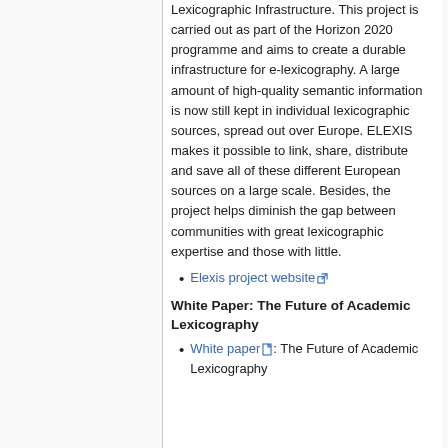Lexicographic Infrastructure. This project is carried out as part of the Horizon 2020 programme and aims to create a durable infrastructure for e-lexicography. A large amount of high-quality semantic information is now still kept in individual lexicographic sources, spread out over Europe. ELEXIS makes it possible to link, share, distribute and save all of these different European sources on a large scale. Besides, the project helps diminish the gap between communities with great lexicographic expertise and those with little.
Elexis project website [external link]
White Paper: The Future of Academic Lexicography
White paper [doc]: The Future of Academic Lexicography